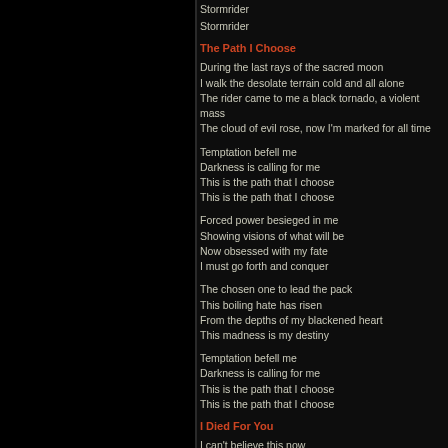Stormrider
Stormrider
The Path I Choose
During the last rays of the sacred moon
I walk the desolate terrain cold and all alone
The rider came to me a black tornado, a violent mass
The cloud of evil rose, now I'm marked for all time
Temptation befell me
Darkness is calling for me
This is the path that I choose
This is the path that I choose
Forced power besieged in me
Showing visions of what will be
Now obsessed with my fate
I must go forth and conquer
The chosen one to lead the pack
This boiling hate has risen
From the depths of my blackened heart
This madness is my destiny
Temptation befell me
Darkness is calling for me
This is the path that I choose
This is the path that I choose
I Died For You
I can't believe this now
This isn't what I planned
I lived and died and now
I just can't understand
With all the love I feel
I could never leave her
No matter what the cost
My soul's the price to see her